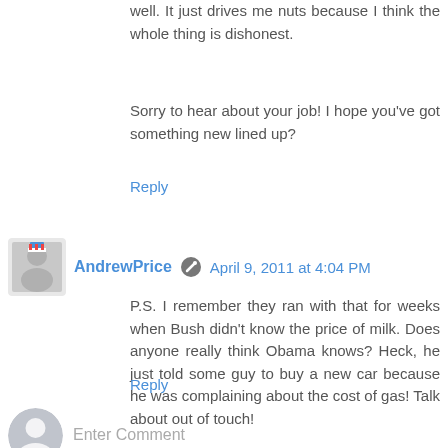well. It just drives me nuts because I think the whole thing is dishonest.
Sorry to hear about your job! I hope you've got something new lined up?
Reply
AndrewPrice  April 9, 2011 at 4:04 PM
P.S. I remember they ran with that for weeks when Bush didn't know the price of milk. Does anyone really think Obama knows? Heck, he just told some guy to buy a new car because he was complaining about the cost of gas! Talk about out of touch!
Reply
Enter Comment